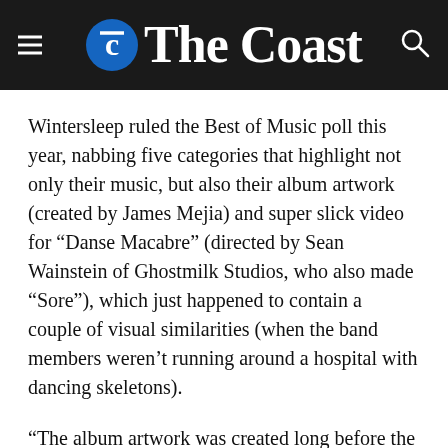The Coast
Wintersleep ruled the Best of Music poll this year, nabbing five categories that highlight not only their music, but also their album artwork (created by James Mejia) and super slick video for “Danse Macabre” (directed by Sean Wainstein of Ghostmilk Studios, who also made “Sore”), which just happened to contain a couple of visual similarities (when the band members weren’t running around a hospital with dancing skeletons).
“The album artwork was created long before the video,” says bassist Jud Haynes. “James actually